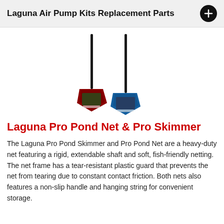Laguna Air Pump Kits Replacement Parts
[Figure (photo): Two Laguna pond nets/skimmers with long black handles and triangular net heads — one with a red/burgundy frame and one with a blue frame — shown standing upright with product packaging labels visible on the net heads.]
Laguna Pro Pond Net & Pro Skimmer
The Laguna Pro Pond Skimmer and Pro Pond Net are a heavy-duty net featuring a rigid, extendable shaft and soft, fish-friendly netting. The net frame has a tear-resistant plastic guard that prevents the net from tearing due to constant contact friction. Both nets also features a non-slip handle and hanging string for convenient storage.